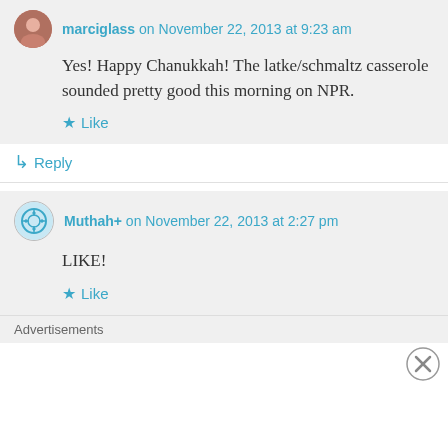marciglass on November 22, 2013 at 9:23 am
Yes! Happy Chanukkah! The latke/schmaltz casserole sounded pretty good this morning on NPR.
Like
Reply
Muthah+ on November 22, 2013 at 2:27 pm
LIKE!
Like
Advertisements